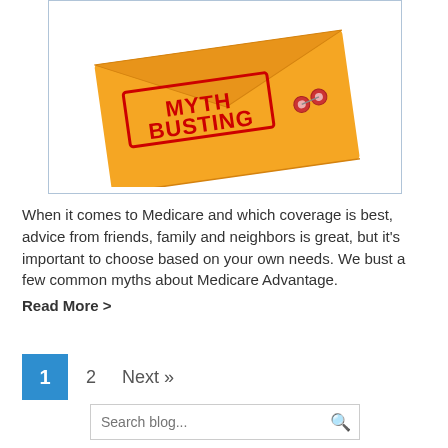[Figure (illustration): A golden/yellow manila envelope tilted at an angle with a red stamp reading 'MYTH BUSTING' on the front, with a metal clasp fastener visible.]
When it comes to Medicare and which coverage is best, advice from friends, family and neighbors is great, but it's important to choose based on your own needs. We bust a few common myths about Medicare Advantage. Read More >
1
2
Next »